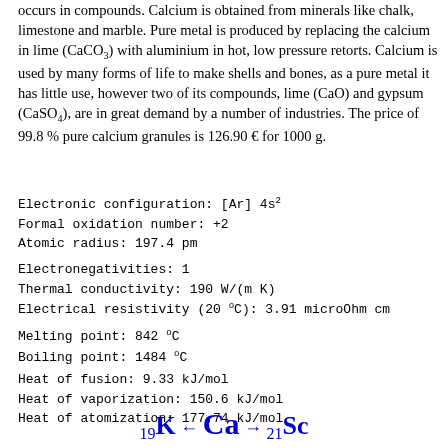occurs in compounds. Calcium is obtained from minerals like chalk, limestone and marble. Pure metal is produced by replacing the calcium in lime (CaCO3) with aluminium in hot, low pressure retorts. Calcium is used by many forms of life to make shells and bones, as a pure metal it has little use, however two of its compounds, lime (CaO) and gypsum (CaSO4), are in great demand by a number of industries. The price of 99.8 % pure calcium granules is 126.90 € for 1000 g.
Electronic configuration: [Ar] 4s²
Formal oxidation number: +2
Atomic radius: 197.4 pm
Electronegativities: 1
Thermal conductivity: 190 W/(m K)
Electrical resistivity (20 °C): 3.91 microOhm cm
Melting point: 842 °C
Boiling point: 1484 °C
Heat of fusion: 9.33 kJ/mol
Heat of vaporization: 150.6 kJ/mol
Heat of atomization: 177.74 kJ/mol
₁₉K ← ²⁰Ca → ²¹Sc